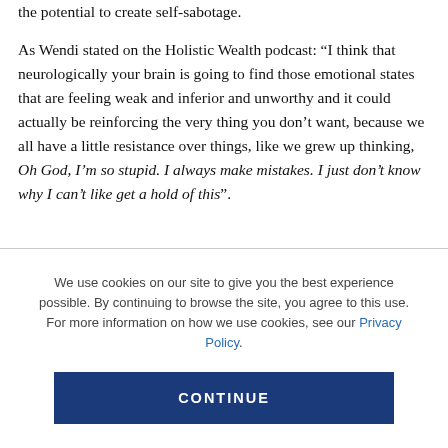the potential to create self-sabotage.

As Wendi stated on the Holistic Wealth podcast: “I think that neurologically your brain is going to find those emotional states that are feeling weak and inferior and unworthy and it could actually be reinforcing the very thing you don’t want, because we all have a little resistance over things, like we grew up thinking, Oh God, I’m so stupid. I always make mistakes. I just don’t know why I can’t like get a hold of this”.
We use cookies on our site to give you the best experience possible. By continuing to browse the site, you agree to this use. For more information on how we use cookies, see our Privacy Policy.
CONTINUE